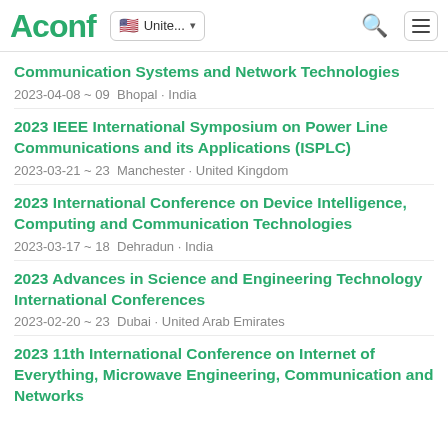Aconf | Unite... (language selector, search, menu)
Communication Systems and Network Technologies
2023-04-08 ~ 09  Bhopal · India
2023 IEEE International Symposium on Power Line Communications and its Applications (ISPLC)
2023-03-21 ~ 23  Manchester · United Kingdom
2023 International Conference on Device Intelligence, Computing and Communication Technologies
2023-03-17 ~ 18  Dehradun · India
2023 Advances in Science and Engineering Technology International Conferences
2023-02-20 ~ 23  Dubai · United Arab Emirates
2023 11th International Conference on Internet of Everything, Microwave Engineering, Communication and Networks